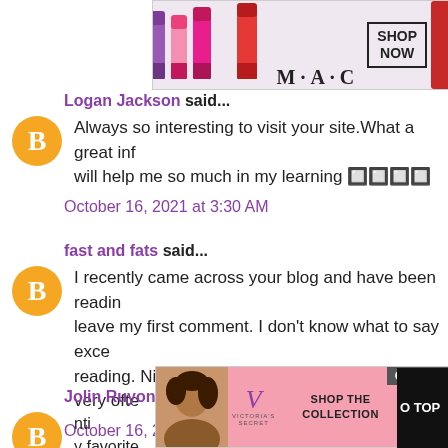[Figure (photo): MAC Cosmetics advertisement banner with lipsticks and Shop Now button]
Logan Jackson said... Always so interesting to visit your site.What a great inf... will help me so much in my learning 🔲🔲🔲🔲
October 16, 2021 at 3:30 AM
fast and fats said... I recently came across your blog and have been readin... leave my first comment. I don't know what to say exce... reading. Nice blog. I will keep visiting this blog very ofte...
October 16, 2021 at 3:32 AM
Jolin Ruyon said...
[Figure (photo): Victoria's Secret advertisement banner with Shop the Collection and Shop Now button, with Close button and GO TOP label]